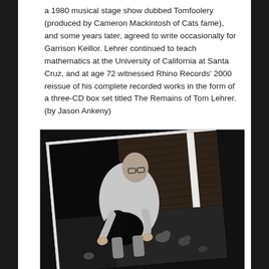a 1980 musical stage show dubbed Tomfoolery (produced by Cameron Mackintosh of Cats fame), and some years later, agreed to write occasionally for Garrison Keillor. Lehrer continued to teach mathematics at the University of California at Santa Cruz, and at age 72 witnessed Rhino Records' 2000 reissue of his complete recorded works in the form of a three-CD box set titled The Remains of Tom Lehrer. (by Jason Ankeny)
[Figure (photo): Black and white photograph, slightly tilted, showing a man with glasses wearing a light-colored jacket, crouching down near what appears to be a cat or animal on the ground, with pigeons nearby. Background shows a brick wall.]